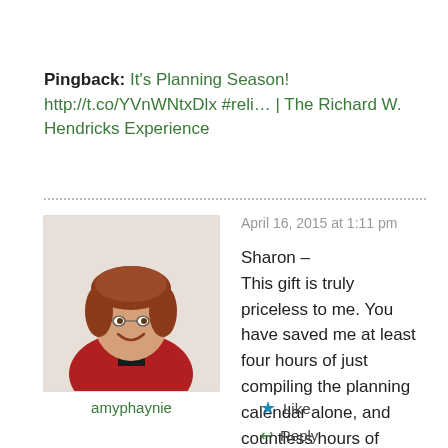Pingback: It's Planning Season! http://t.co/YVnWNtxDlx #reli… | The Richard W. Hendricks Experience
[Figure (photo): Profile photo of a woman with short reddish-brown hair wearing a red jacket, smiling.]
amyphaynie
April 16, 2015 at 1:11 pm
Sharon –
This gift is truly priceless to me. You have saved me at least four hours of just compiling the planning calendar alone, and countless hours of having to track down the resources.
Easter Blessings to you!
Like
Reply